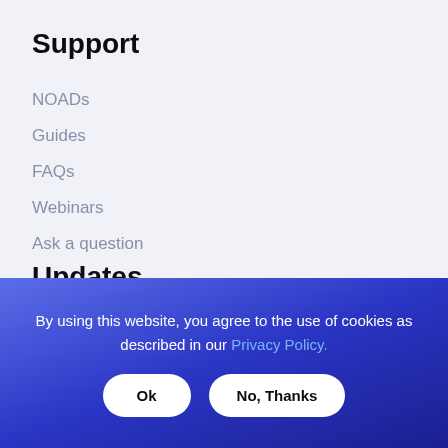Support
NOADs
Guides
FAQs
Webinars
Ask a question
Updates
By using this website, you agree to the use of cookies as described in our Privacy Policy.
Ok
No, Thanks